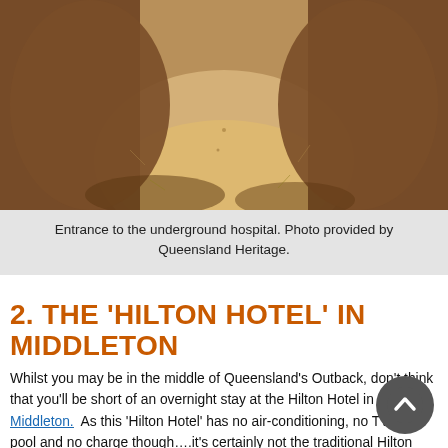[Figure (photo): Entrance to the underground hospital — a sandy dirt path surrounded by rocky outcroppings and dried scrubby vegetation, viewed from inside looking outward toward light.]
Entrance to the underground hospital. Photo provided by Queensland Heritage.
2. THE 'HILTON HOTEL' IN MIDDLETON
Whilst you may be in the middle of Queensland's Outback, don't think that you'll be short of an overnight stay at the Hilton Hotel in Middleton.  As this 'Hilton Hotel' has no air-conditioning, no TV, no pool and no charge though….it's certainly not the traditional Hilton Hotel you may be familiar with. BUT for those on a budget, this